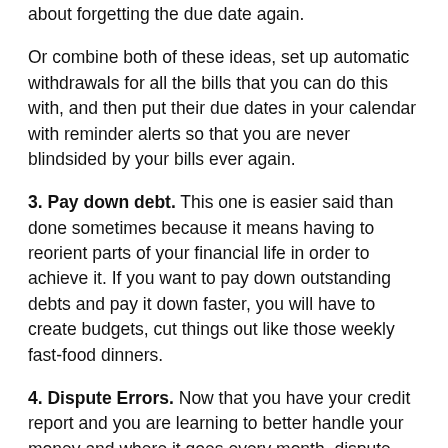about forgetting the due date again.
Or combine both of these ideas, set up automatic withdrawals for all the bills that you can do this with, and then put their due dates in your calendar with reminder alerts so that you are never blindsided by your bills ever again.
3. Pay down debt. This one is easier said than done sometimes because it means having to reorient parts of your financial life in order to achieve it. If you want to pay down outstanding debts and pay it down faster, you will have to create budgets, cut things out like those weekly fast-food dinners.
4. Dispute Errors. Now that you have your credit report and you are learning to better handle your money and where it goes every month, dispute